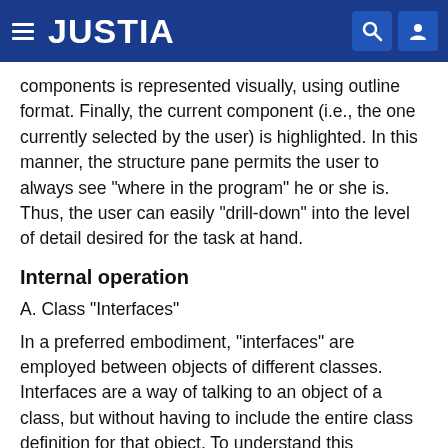JUSTIA
components is represented visually, using outline format. Finally, the current component (i.e., the one currently selected by the user) is highlighted. In this manner, the structure pane permits the user to always see "where in the program" he or she is. Thus, the user can easily "drill-down" into the level of detail desired for the task at hand.
Internal operation
A. Class "Interfaces"
In a preferred embodiment, "interfaces" are employed between objects of different classes. Interfaces are a way of talking to an object of a class, but without having to include the entire class definition for that object. To understand this approach, it is instructive to first review conventional methodology for interclass object